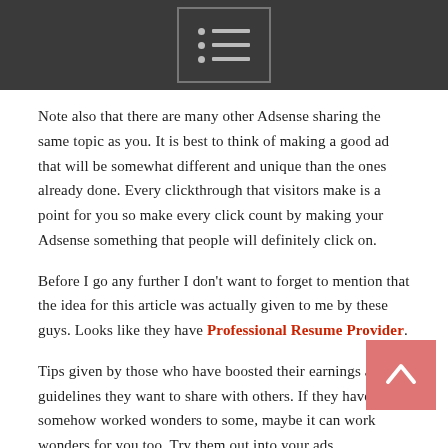[menu icon]
Note also that there are many other Adsense sharing the same topic as you. It is best to think of making a good ad that will be somewhat different and unique than the ones already done. Every clickthrough that visitors make is a point for you so make every click count by making your Adsense something that people will definitely click on.
Before I go any further I don't want to forget to mention that the idea for this article was actually given to me by these guys. Looks like they have Professional Resume Provider.
Tips given by those who have boosted their earnings are just guidelines they want to share with others. If they have somehow worked wonders to some, maybe it can work wonders for you too. Try them out into your ads